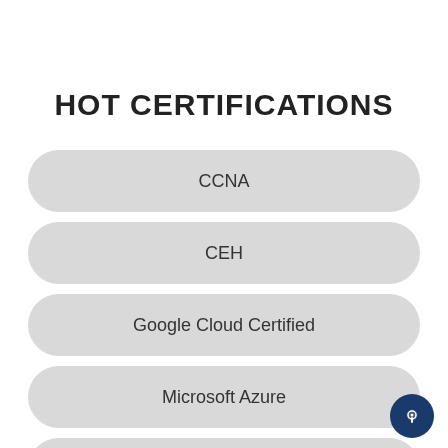HOT CERTIFICATIONS
CCNA
CEH
Google Cloud Certified
Microsoft Azure
Microsoft 365